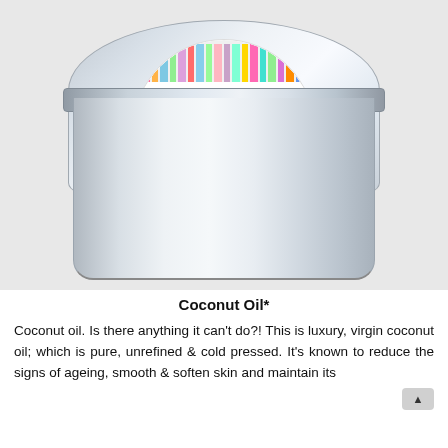[Figure (photo): A round silver aluminum tin with a circular colorful striped label on top reading 'coconut OIL' in bold black and blue handwritten-style text, photographed on a light grey/white background.]
Coconut Oil*
Coconut oil. Is there anything it can't do?! This is luxury, virgin coconut oil; which is pure, unrefined & cold pressed. It's known to reduce the signs of ageing, smooth & soften skin and maintain its